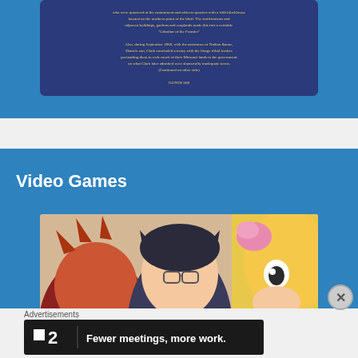[Figure (photo): Historical marker plaque with dark blue background and gold text, mounted on a post, showing text about Clark's treaty with Osage tribal leaders]
Video Games
[Figure (photo): Anime-style illustration showing multiple characters including a red-haired character, a dark-haired character with glasses, and a blonde character with a pink hair accessory]
Advertisements
[Figure (screenshot): Advertisement banner with dark background showing the Planview logo (square icon with '2') and text 'Fewer meetings, more work.']